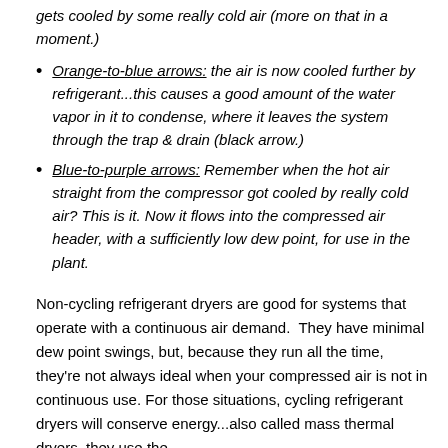gets cooled by some really cold air (more on that in a moment.)
Orange-to-blue arrows: the air is now cooled further by refrigerant...this causes a good amount of the water vapor in it to condense, where it leaves the system through the trap & drain (black arrow.)
Blue-to-purple arrows: Remember when the hot air straight from the compressor got cooled by really cold air? This is it. Now it flows into the compressed air header, with a sufficiently low dew point, for use in the plant.
Non-cycling refrigerant dryers are good for systems that operate with a continuous air demand. They have minimal dew point swings, but, because they run all the time, they're not always ideal when your compressed air is not in continuous use. For those situations, cycling refrigerant dryers will conserve energy...also called mass thermal dryers, they use the